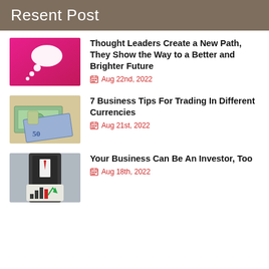Resent Post
Thought Leaders Create a New Path, They Show the Way to a Better and Brighter Future
Aug 22nd, 2022
7 Business Tips For Trading In Different Currencies
Aug 21st, 2022
Your Business Can Be An Investor, Too
Aug 18th, 2022